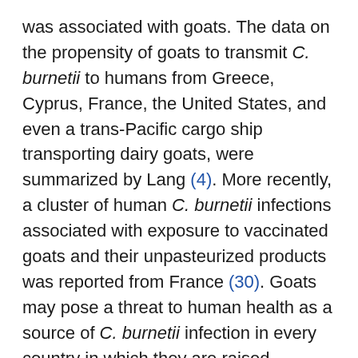was associated with goats. The data on the propensity of goats to transmit C. burnetii to humans from Greece, Cyprus, France, the United States, and even a trans-Pacific cargo ship transporting dairy goats, were summarized by Lang (4). More recently, a cluster of human C. burnetii infections associated with exposure to vaccinated goats and their unpasteurized products was reported from France (30). Goats may pose a threat to human health as a source of C. burnetii infection in every country in which they are raised extensively and are in close contact with humans. However, Q fever can also be contracted from other sources of infection and has been, even in Bulgaria and Slovakia.
Reporting of Q fever in a given territory depends on the attention of public health authorities and the availability of diagnostic methods. Apart from C.